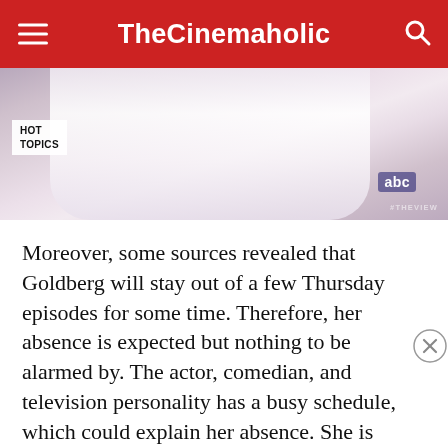TheCinemaholic
[Figure (photo): A person wearing a white outfit on what appears to be a TV show set, with HOT TOPICS badge visible and ABC network logo in the corner, watermark reading #THEVIEW]
Moreover, some sources revealed that Goldberg will stay out of a few Thursday episodes for some time. Therefore, her absence is expected but nothing to be alarmed by. The actor, comedian, and television personality has a busy schedule, which could explain her absence. She is involved in several upcoming projects such as 'Fairy Tale Forest,' 'Harlem,' 'Luck,' 'Till,' and 'Pierre the Pigeon-Hawk.' Furthermore,